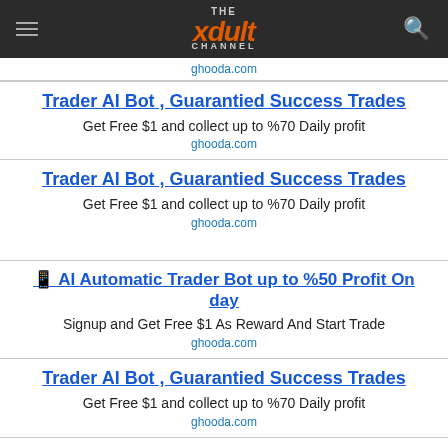THE xDult CHANNEL
ghooda.com
Trader AI Bot , Guarantied Success Trades
Get Free $1 and collect up to %70 Daily profit
ghooda.com
Trader AI Bot , Guarantied Success Trades
Get Free $1 and collect up to %70 Daily profit
ghooda.com
🀄 AI Automatic Trader Bot up to %50 Profit On day
Signup and Get Free $1 As Reward And Start Trade
ghooda.com
Trader AI Bot , Guarantied Success Trades
Get Free $1 and collect up to %70 Daily profit
ghooda.com